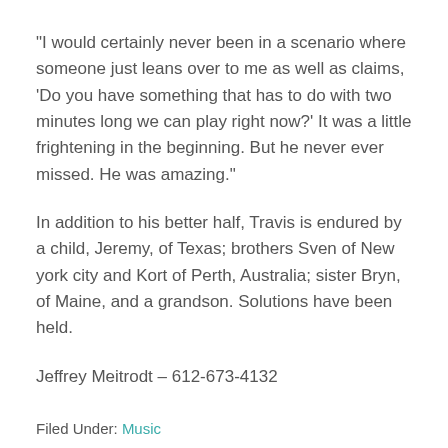"I would certainly never been in a scenario where someone just leans over to me as well as claims, 'Do you have something that has to do with two minutes long we can play right now?' It was a little frightening in the beginning. But he never ever missed. He was amazing."
In addition to his better half, Travis is endured by a child, Jeremy, of Texas; brothers Sven of New york city and Kort of Perth, Australia; sister Bryn, of Maine, and a grandson. Solutions have been held.
Jeffrey Meitrodt – 612-673-4132
Filed Under: Music
Tagged With: RSS Feeds